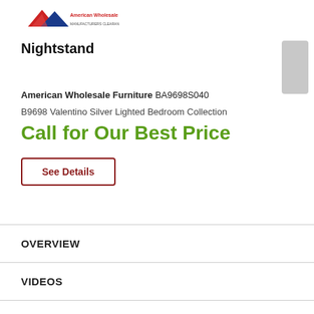[Figure (logo): American Wholesale Furniture logo with red/blue AWF letters and text]
Nightstand
American Wholesale Furniture BA9698S040
B9698 Valentino Silver Lighted Bedroom Collection
Call for Our Best Price
See Details
OVERVIEW
VIDEOS
DELIVERY